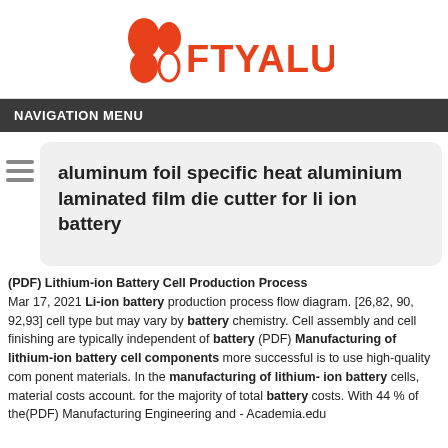[Figure (logo): FTYALUMINUM logo with orange shapes and text]
NAVIGATION MENU
aluminum foil specific heat aluminium laminated film die cutter for li ion battery
(PDF) Lithium-ion Battery Cell Production Process
Mar 17, 2021 Li-ion battery production process flow diagram. [26,82, 90, 92,93] cell type but may vary by battery chemistry. Cell assembly and cell finishing are typically independent of battery (PDF) Manufacturing of lithium-ion battery cell components more successful is to use high-quality com ponent materials. In the manufacturing of lithium- ion battery cells, material costs account. for the majority of total battery costs. With 44 % of the(PDF) Manufacturing Engineering and - Academia.edu